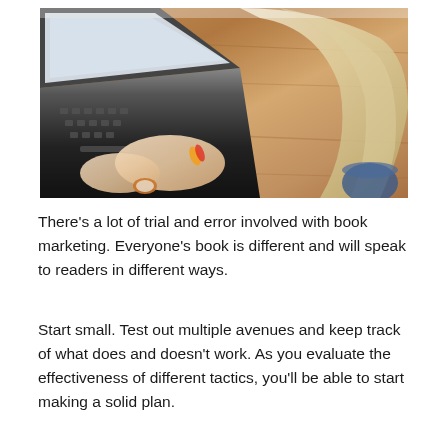[Figure (photo): Overhead view of a blonde woman typing on a laptop keyboard, wearing a watch and colorful bracelets, on a wooden surface with a coffee mug visible.]
There's a lot of trial and error involved with book marketing. Everyone's book is different and will speak to readers in different ways.
Start small. Test out multiple avenues and keep track of what does and doesn't work. As you evaluate the effectiveness of different tactics, you'll be able to start making a solid plan.